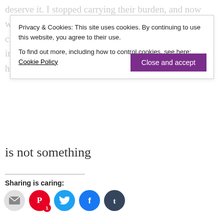deserve it. I stopped carrying their burden, and now whenever I start to feel like I am pushing it all down, I check in with myself. I let the painful memories come in and now I see that I had no way of stopping what happened and whatever I had to do to survive
Privacy & Cookies: This site uses cookies. By continuing to use this website, you agree to their use. To find out more, including how to control cookies, see here: Cookie Policy
Close and accept
is not something
Sharing is caring:
[Figure (infographic): Social sharing buttons: email (gray), Pinterest (red, badge 1), Twitter (cyan), Facebook (blue), Tumblr (dark navy)]
Be Well  be yourself, depression, healing, inspiration, invisible illness, kindness, loss, self-care, self-love, therapy, Trauma, wellness
« 22 Years & Counting    Silence is Deafening »